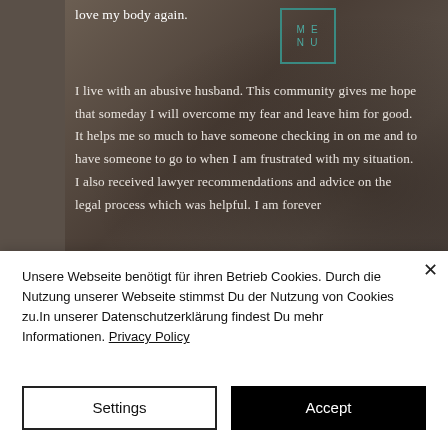[Figure (photo): Dark brownish-grey background photo showing a partial view of a person, serving as backdrop for a testimonial quote overlay.]
love my body again.
I live with an abusive husband. This community gives me hope that someday I will overcome my fear and leave him for good. It helps me so much to have someone checking in on me and to have someone to go to when I am frustrated with my situation. I also received lawyer recommendations and advice on the legal process which was helpful. I am forever
Unsere Webseite benötigt für ihren Betrieb Cookies. Durch die Nutzung unserer Webseite stimmst Du der Nutzung von Cookies zu.In unserer Datenschutzerklärung findest Du mehr Informationen. Privacy Policy
Settings
Accept